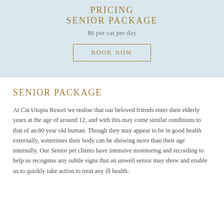PRICING
SENIOR PACKAGE
$6 per cat per day
BOOK NOW
SENIOR PACKAGE
At Cat Utopia Resort we realise that our beloved friends enter their elderly years at the age of around 12, and with this may come similar conditions to that of an 80 year old human. Though they may appear to be in good health externally, sometimes their body can be showing more than their age internally. Our Senior pet clients have intensive monitoring and recording to help us recognise any subtle signs that an unwell senior may show and enable us to quickly take action to treat any ill health.